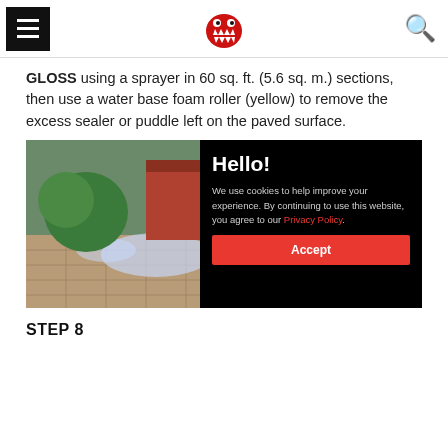Navigation bar with menu icon, red dinosaur/alligator logo, and search icon
GLOSS using a sprayer in 60 sq. ft. (5.6 sq. m.) sections, then use a water base foam roller (yellow) to remove the excess sealer or puddle left on the paved surface.
[Figure (photo): Outdoor photo showing workers sealing a paved stone driveway/patio with a liquid sealer, with a house and green trees/garden in the background]
Hello!

We use cookies to help improve your experience. By continuing to use this website, you agree to our Privacy Policy.
Accept
STEP 8